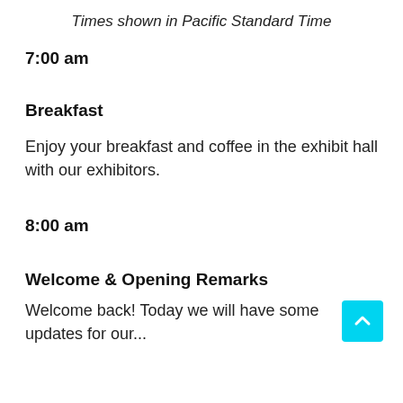Times shown in Pacific Standard Time
7:00 am
Breakfast
Enjoy your breakfast and coffee in the exhibit hall with our exhibitors.
8:00 am
Welcome & Opening Remarks
Welcome back! Today we will have some updates for our...